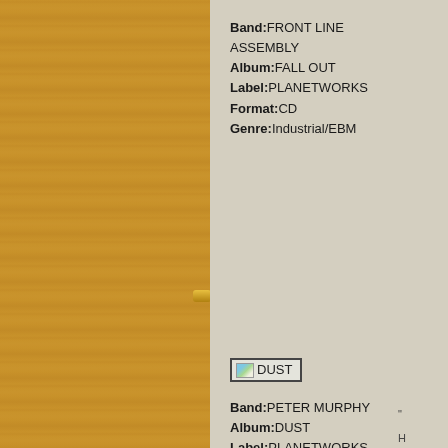[Figure (photo): Wooden panel background occupying left portion of page]
Band:FRONT LINE ASSEMBLY
Album:FALL OUT
Label:PLANETWORKS
Format:CD
Genre:Industrial/EBM
[Figure (illustration): Small album thumbnail image with text DUST in a bordered box]
Band:PETER MURPHY
Album:DUST
Label:PLANETWORKS
Format:CD
Genre:Alt Rock